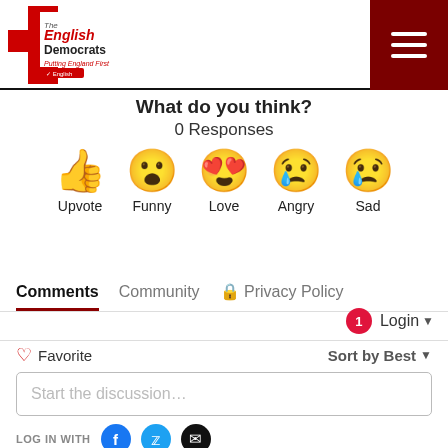[Figure (logo): The English Democrats logo with red cross and text 'Putting England First']
[Figure (other): Dark red hamburger menu icon button in top right corner]
What do you think?
0 Responses
[Figure (infographic): Five emoji reaction buttons: Upvote (thumbs up), Funny (surprised face), Love (heart eyes), Angry (crying angry face), Sad (sad face with tear)]
Comments  Community  Privacy Policy
Login
Favorite
Sort by Best
Start the discussion...
LOG IN WITH